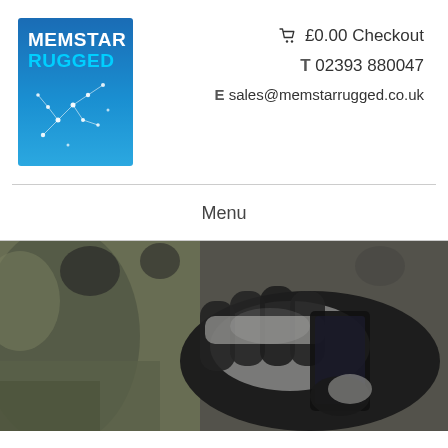[Figure (logo): Memstar Rugged logo: dark blue square with white MEMSTAR text, cyan RUGGED text, and white constellation/star pattern graphic]
🛒 £0.00 Checkout
T 02393 880047
E sales@memstarrugged.co.uk
Menu
[Figure (photo): Close-up photo of a person wearing military/tactical gloves operating a rugged mobile device or tablet, with camouflage clothing visible and industrial background]